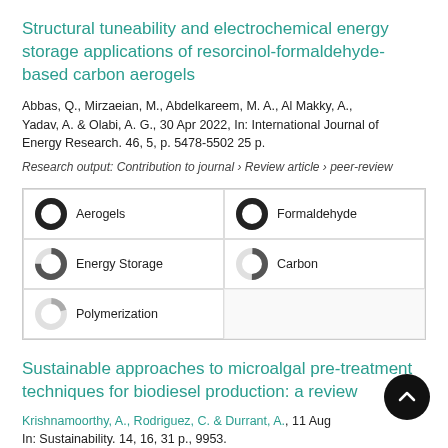Structural tuneability and electrochemical energy storage applications of resorcinol-formaldehyde-based carbon aerogels
Abbas, Q., Mirzaeian, M., Abdelkareem, M. A., Al Makky, A., Yadav, A. & Olabi, A. G., 30 Apr 2022, In: International Journal of Energy Research. 46, 5, p. 5478-5502 25 p.
Research output: Contribution to journal › Review article › peer-review
| Keyword | Percentage |
| --- | --- |
| Aerogels | 100% |
| Formaldehyde | 100% |
| Energy Storage | 75% |
| Carbon | 50% |
| Polymerization | 20% |
Sustainable approaches to microalgal pre-treatment techniques for biodiesel production: a review
Krishnamoorthy, A., Rodriguez, C. & Durrant, A., 11 Aug... In: Sustainability. 14, 16, 31 p., 9953.
Research output: Contribution to journal › Review article › peer-